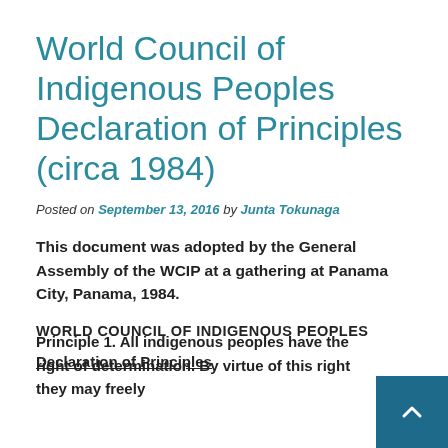World Council of Indigenous Peoples Declaration of Principles (circa 1984)
Posted on September 13, 2016 by Junta Tokunaga
This document was adopted by the General Assembly of the WCIP at a gathering at Panama City, Panama, 1984.
WORLD COUNCIL OF INDIGENOUS PEOPLES
Declaration of Principles
Principle 1. All indigenous peoples have the right of determination. By virtue of this right they may freely